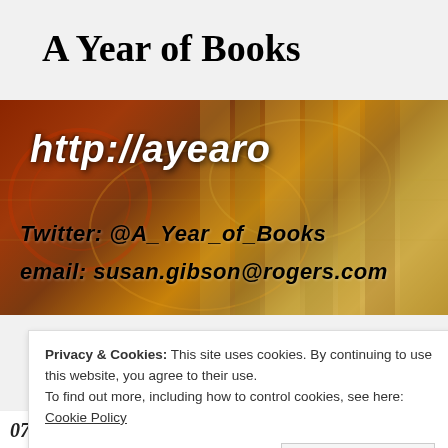A Year of Books
[Figure (photo): Website banner image with dark brown/red and gold book background. Shows text: 'http://ayearo' (partially visible), 'Twitter: @A_Year_of_Books', 'email: susan.gibson@rogers.com']
Privacy & Cookies: This site uses cookies. By continuing to use this website, you agree to their use.
To find out more, including how to control cookies, see here: Cookie Policy
Close and accept
07. Firestarter (Stephen King)